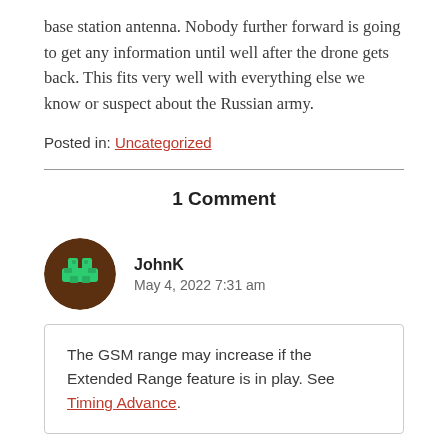base station antenna. Nobody further forward is going to get any information until well after the drone gets back. This fits very well with everything else we know or suspect about the Russian army.
Posted in: Uncategorized
1 Comment
JohnK
May 4, 2022 7:31 am
The GSM range may increase if the Extended Range feature is in play. See Timing Advance.